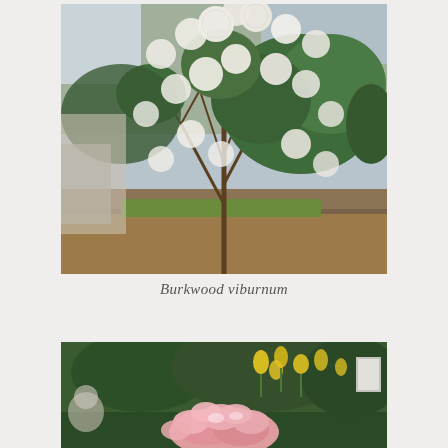[Figure (photo): A Burkwood viburnum shrub with white ball-shaped flower clusters on bare branches, surrounded by green foliage in the background, photographed outdoors in a garden setting.]
Burkwood viburnum
[Figure (photo): Close-up of pink flower clusters (possibly rhododendron or similar shrub) in a garden setting with yellow flowers (daffodils) visible in the background.]